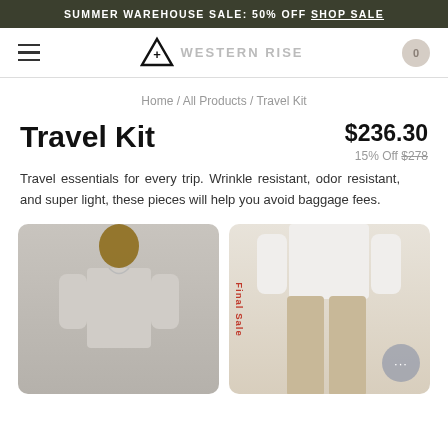SUMMER WAREHOUSE SALE: 50% OFF SHOP SALE
[Figure (logo): Western Rise logo — triangle with plus sign, text WESTERN RISE]
Home / All Products / Travel Kit
Travel Kit
$236.30
15% Off $278
Travel essentials for every trip. Wrinkle resistant, odor resistant, and super light, these pieces will help you avoid baggage fees.
[Figure (photo): Man wearing light grey button-up shirt]
[Figure (photo): Man wearing khaki pants and white t-shirt, with Final Sale label]